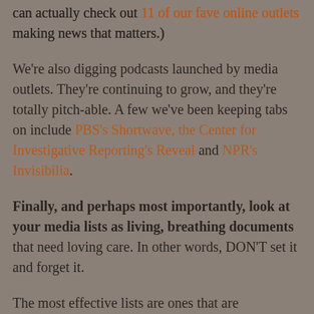can actually check out 11 of our fave online outlets making news that matters.)
We're also digging podcasts launched by media outlets. They're continuing to grow, and they're totally pitch-able. A few we've been keeping tabs on include PBS's Shortwave, the Center for Investigative Reporting's Reveal and NPR's Invisibilia.
Finally, and perhaps most importantly, look at your media lists as living, breathing documents that need loving care. In other words, DON'T set it and forget it.
The most effective lists are ones that are